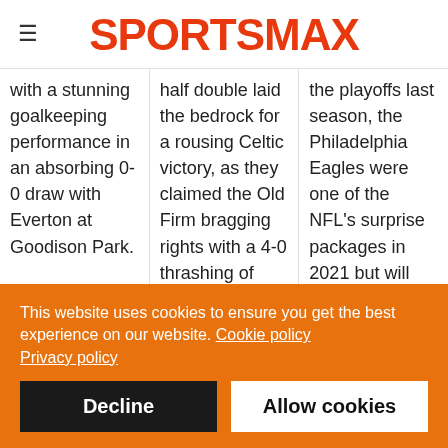SPORTSMAX
with a stunning goalkeeping performance in an absorbing 0-0 draw with Everton at Goodison Park.

The England number one made a string of
half double laid the bedrock for a rousing Celtic victory, as they claimed the Old Firm bragging rights with a 4-0 thrashing of Rangers.

Abada was in
the playoffs last season, the Philadelphia Eagles were one of the NFL's surprise packages in 2021 but will have to shoulder larger expectations
This website uses cookies to ensure you get the best experience on our website. Cookie policy
Privacy policy
Decline
Allow cookies